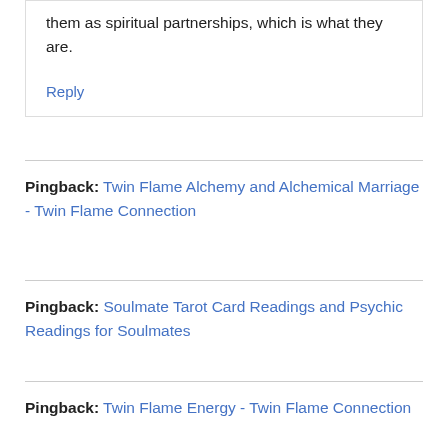them as spiritual partnerships, which is what they are.
Reply
Pingback: Twin Flame Alchemy and Alchemical Marriage - Twin Flame Connection
Pingback: Soulmate Tarot Card Readings and Psychic Readings for Soulmates
Pingback: Twin Flame Energy - Twin Flame Connection